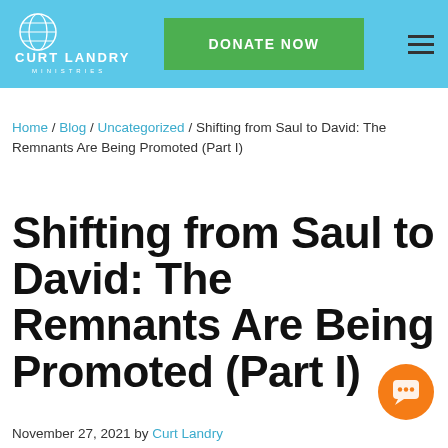Curt Landry Ministries — DONATE NOW
Home / Blog / Uncategorized / Shifting from Saul to David: The Remnants Are Being Promoted (Part I)
Shifting from Saul to David: The Remnants Are Being Promoted (Part I)
November 27, 2021 by Curt Landry